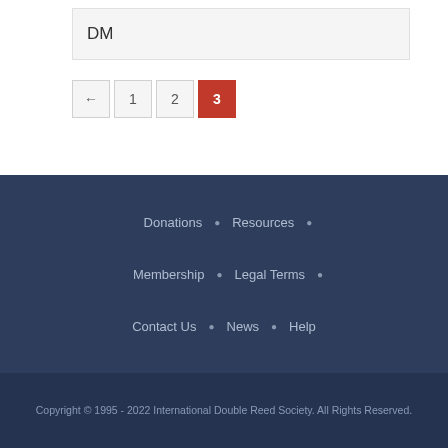DM
← 1 2 3
Donations • Resources • Membership • Legal Terms • Contact Us • News • Help
Copyright © 1995 - 2022 International Double Reed Society. All Rights Reserved.